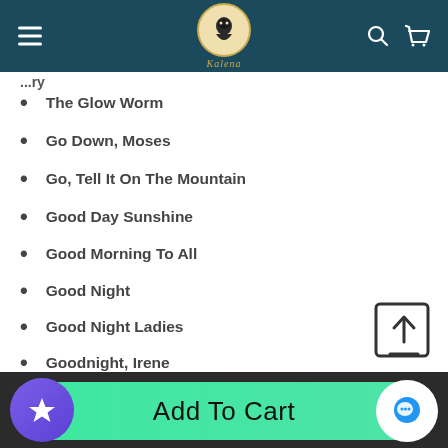Kalena music store header with menu, logo, search and cart icons
The Glow Worm
Go Down, Moses
Go, Tell It On The Mountain
Good Day Sunshine
Good Morning To All
Good Night
Good Night Ladies
Goodnight, Irene
A Groovy Kind Of Love
Add To Cart